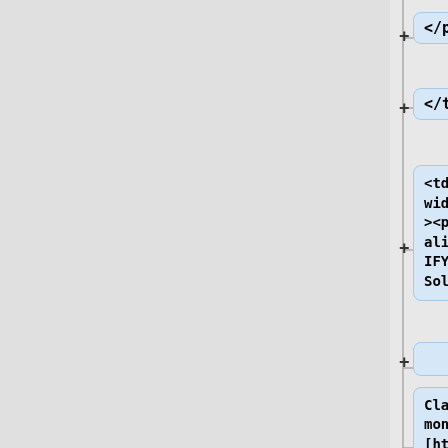[Figure (screenshot): A tree/outline view showing HTML code nodes with expand buttons (+). Nodes shown: </p>, </td>, a <td> node with width='200'><p align='JUSTIFY'><b>Soluzione:, an empty node, and a Classe monitor node with URL [http://{{SERVERNAME}}/didattica/psoLM/Esami/12-13/13Feb13/...]
</p>
</td>
<td width="200"><p align="JUSTIFY"><b>Soluzione:
Classe monitor: [http://{{SERVERNAME}}/didattica/psoLM/Esami/12-13/13Feb13/...